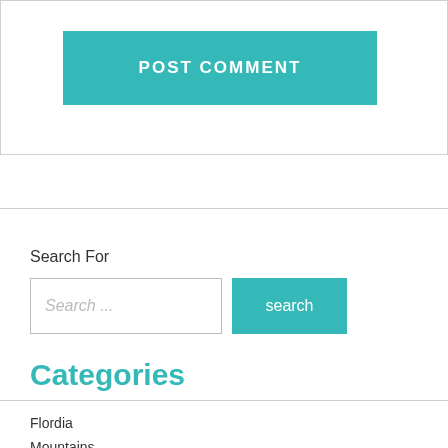[Figure (screenshot): POST COMMENT button in teal/turquoise color inside a bordered box]
Search For
[Figure (screenshot): Search input field with placeholder 'Search ...' and teal 'search' button]
Categories
Flordia
Mountains
Staycation
Uncategorized
Tags